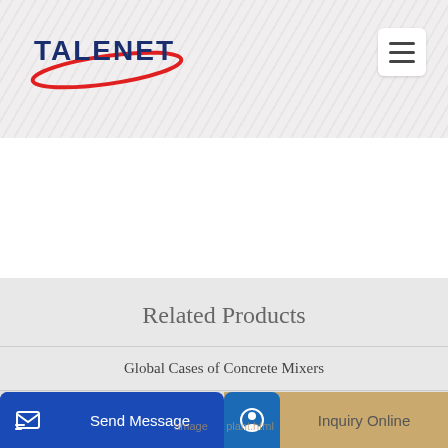[Figure (logo): TALENET company logo with red oval swoosh and dark blue bold text]
[Figure (other): Hamburger menu icon button (three horizontal lines) in white rounded box]
Related Products
Global Cases of Concrete Mixers
belt feeding batching plant process
Send Message
Inquiry Online